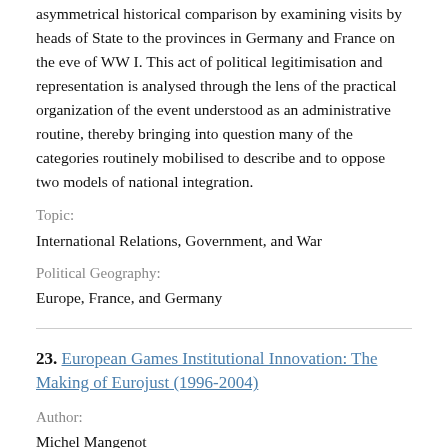asymmetrical historical comparison by examining visits by heads of State to the provinces in Germany and France on the eve of WW I. This act of political legitimisation and representation is analysed through the lens of the practical organization of the event understood as an administrative routine, thereby bringing into question many of the categories routinely mobilised to describe and to oppose two models of national integration.
Topic:
International Relations, Government, and War
Political Geography:
Europe, France, and Germany
23. European Games Institutional Innovation: The Making of Eurojust (1996-2004)
Author:
Michel Mangenot